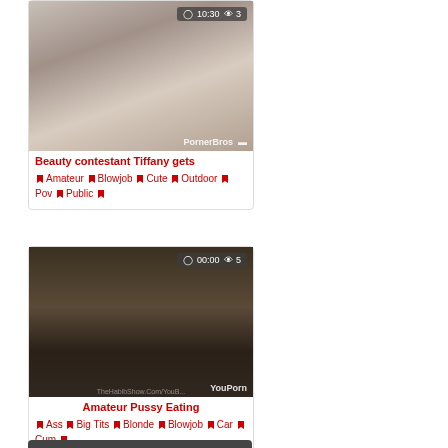[Figure (screenshot): Video thumbnail showing a person, with overlay showing duration 10:30 and view count 3, watermark PornerBros]
Beauty contestant Tiffany gets
Amateur  Blowjob  Cute  Outdoor  Pov  Public
[Figure (screenshot): Video thumbnail showing dark indoor scene, with overlay showing duration 00:00 and view count 5, watermark TheHabibShow.Com/YouB... and YouPorn]
Amateur Pussy Eating
Ass  Big Tits  Blonde  Blowjob  Car  Cum